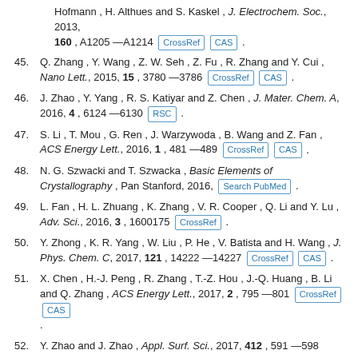Hofmann, H. Althues and S. Kaskel, J. Electrochem. Soc., 2013, 160, A1205–A1214 [CrossRef] [CAS].
45. Q. Zhang, Y. Wang, Z. W. Seh, Z. Fu, R. Zhang and Y. Cui, Nano Lett., 2015, 15, 3780–3786 [CrossRef] [CAS].
46. J. Zhao, Y. Yang, R. S. Katiyar and Z. Chen, J. Mater. Chem. A, 2016, 4, 6124–6130 [RSC].
47. S. Li, T. Mou, G. Ren, J. Warzywoda, B. Wang and Z. Fan, ACS Energy Lett., 2016, 1, 481–489 [CrossRef] [CAS].
48. N. G. Szwacki and T. Szwacka, Basic Elements of Crystallography, Pan Stanford, 2016, [Search PubMed].
49. L. Fan, H. L. Zhuang, K. Zhang, V. R. Cooper, Q. Li and Y. Lu, Adv. Sci., 2016, 3, 1600175 [CrossRef].
50. Y. Zhong, K. R. Yang, W. Liu, P. He, V. Batista and H. Wang, J. Phys. Chem. C, 2017, 121, 14222–14227 [CrossRef] [CAS].
51. X. Chen, H.-J. Peng, R. Zhang, T.-Z. Hou, J.-Q. Huang, B. Li and Q. Zhang, ACS Energy Lett., 2017, 2, 795–801 [CrossRef] [CAS].
52. Y. Zhao and J. Zhao, Appl. Surf. Sci., 2017, 412, 591–598